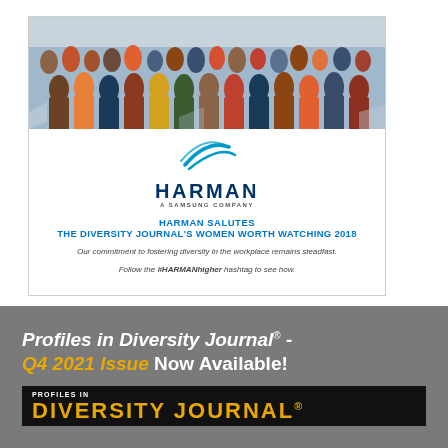[Figure (photo): Harman advertisement featuring a group photo of diverse professionals at the top, the HARMAN (A Samsung Company) logo, text saluting Diversity Journal's Women Worth Watching 2018, with commitment message and hashtag #HARMANhigher]
Profiles in Diversity Journal® - Q4 2021 Issue Now Available!
[Figure (logo): Profiles in Diversity Journal logo on black background with gold text]